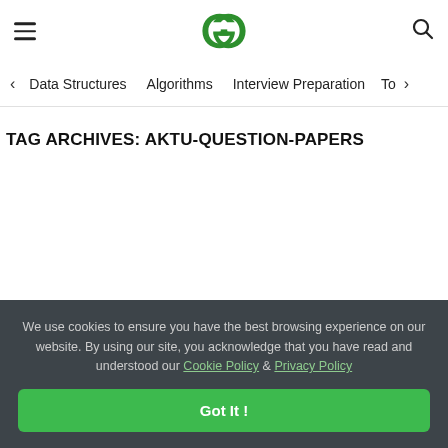GeeksForGeeks — hamburger menu, logo, search icon
< Data Structures   Algorithms   Interview Preparation   To>
TAG ARCHIVES: AKTU-QUESTION-PAPERS
We use cookies to ensure you have the best browsing experience on our website. By using our site, you acknowledge that you have read and understood our Cookie Policy & Privacy Policy
Got It !